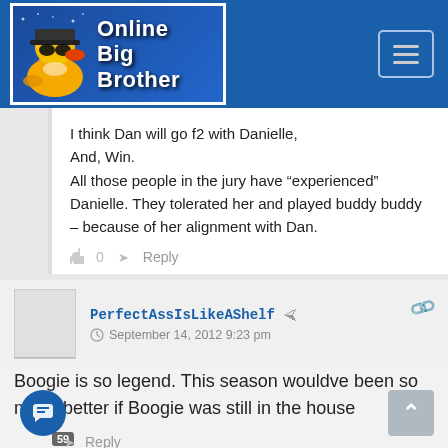[Figure (logo): Online Big Brother website logo with rubber duck mascot wearing sunglasses and hat on blue background]
I think Dan will go f2 with Danielle,
And, Win.
All those people in the jury have “experienced” Danielle. They tolerated her and played buddy buddy – because of her alignment with Dan.
0   Reply
PerfectAssIsLikeAShelf
September 14, 2012 9:23 pm
Boogie is so legend. This season wouldve been so much better if Boogie was still in the house
Reply